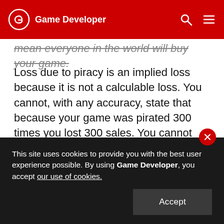Game Developer
mean everyone in the world will buy your game.
Loss due to piracy is an implied loss because it is not a calculable loss. You cannot, with any accuracy, state that because your game was pirated 300 times you lost 300 sales. You cannot prove even one lost sale because there is no evidence to state that any one person who pirated your game would have bought your game if piracy did not exist. From an accounting perspective it's speculative and a company cannot accurately determine loss or gain based on speculative accounting. You can't rely on
This site uses cookies to provide you with the best user experience possible. By using Game Developer, you accept our use of cookies.